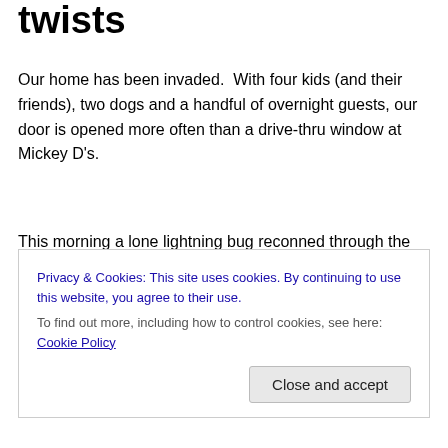twists
Our home has been invaded.  With four kids (and their friends), two dogs and a handful of overnight guests, our door is opened more often than a drive-thru window at Mickey D's.
This morning a lone lightning bug reconned through the kitchen in search of a way out.  Yesterday, I scooped up a very cute spider and transported him to the deck where the mosquito population explodes at dusk.  I've also noticed a new kind of beetle.  It's small and black and
Privacy & Cookies: This site uses cookies. By continuing to use this website, you agree to their use.
To find out more, including how to control cookies, see here: Cookie Policy
Close and accept